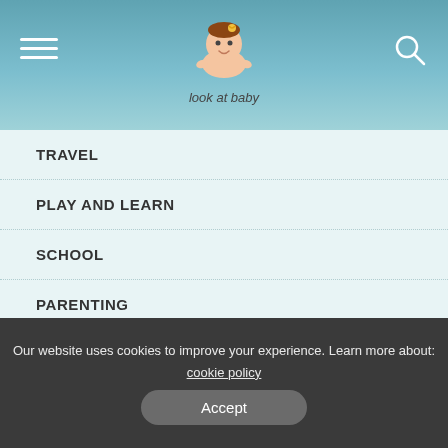look at baby - navigation header with logo
TRAVEL
PLAY AND LEARN
SCHOOL
PARENTING
Advertising Info
ADVERTISING
AD PRODUCTION
DEALS & COUPONS
Our website uses cookies to improve your experience. Learn more about: cookie policy
Accept